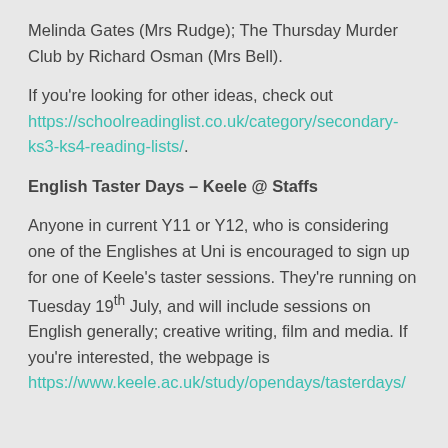Melinda Gates (Mrs Rudge); The Thursday Murder Club by Richard Osman (Mrs Bell).
If you're looking for other ideas, check out https://schoolreadinglist.co.uk/category/secondary-ks3-ks4-reading-lists/.
English Taster Days – Keele @ Staffs
Anyone in current Y11 or Y12, who is considering one of the Englishes at Uni is encouraged to sign up for one of Keele's taster sessions. They're running on Tuesday 19th July, and will include sessions on English generally; creative writing, film and media. If you're interested, the webpage is https://www.keele.ac.uk/study/opendays/tasterdays/